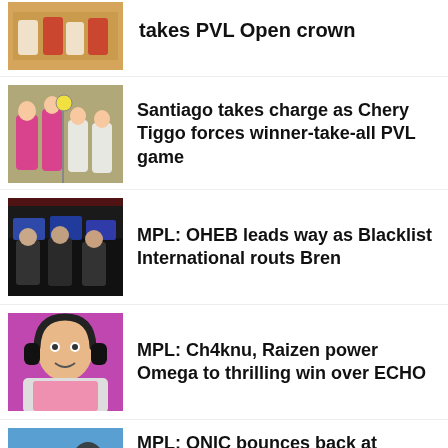takes PVL Open crown
[Figure (photo): Volleyball players on court, team in red and white uniforms]
[Figure (photo): Volleyball players in action, one player in pink uniform with number 6 jumping at net]
Santiago takes charge as Chery Tiggo forces winner-take-all PVL game
[Figure (photo): Esports players at computers in dark gaming setup]
MPL: OHEB leads way as Blacklist International routs Bren
[Figure (photo): Esports player with headset, wearing pink shirt, focused on game]
MPL: Ch4knu, Raizen power Omega to thrilling win over ECHO
[Figure (photo): Esports event scene with KAS branding, partially visible]
MPL: ONIC bounces back at